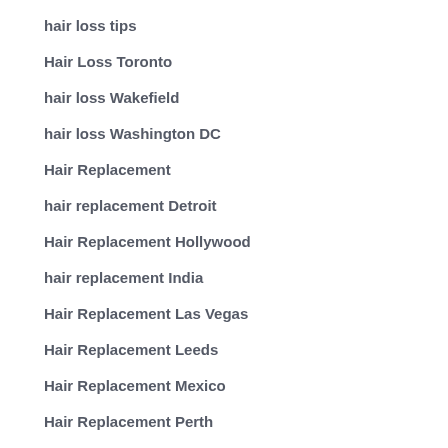hair loss tips
Hair Loss Toronto
hair loss Wakefield
hair loss Washington DC
Hair Replacement
hair replacement Detroit
Hair Replacement Hollywood
hair replacement India
Hair Replacement Las Vegas
Hair Replacement Leeds
Hair Replacement Mexico
Hair Replacement Perth
hair replacement Sacramento